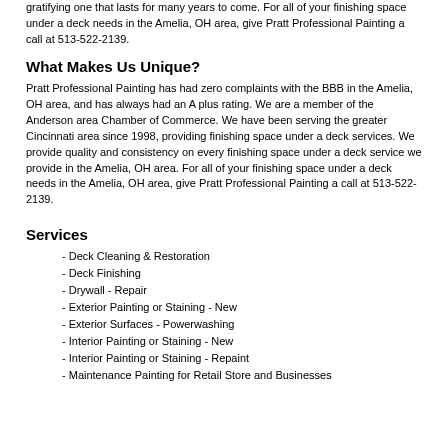gratifying one that lasts for many years to come. For all of your finishing space under a deck needs in the Amelia, OH area, give Pratt Professional Painting a call at 513-522-2139.
What Makes Us Unique?
Pratt Professional Painting has had zero complaints with the BBB in the Amelia, OH area, and has always had an A plus rating. We are a member of the Anderson area Chamber of Commerce. We have been serving the greater Cincinnati area since 1998, providing finishing space under a deck services. We provide quality and consistency on every finishing space under a deck service we provide in the Amelia, OH area. For all of your finishing space under a deck needs in the Amelia, OH area, give Pratt Professional Painting a call at 513-522-2139.
Services
- Deck Cleaning & Restoration
- Deck Finishing
- Drywall - Repair
- Exterior Painting or Staining - New
- Exterior Surfaces - Powerwashing
- Interior Painting or Staining - New
- Interior Painting or Staining - Repaint
- Maintenance Painting for Retail Store and Businesses